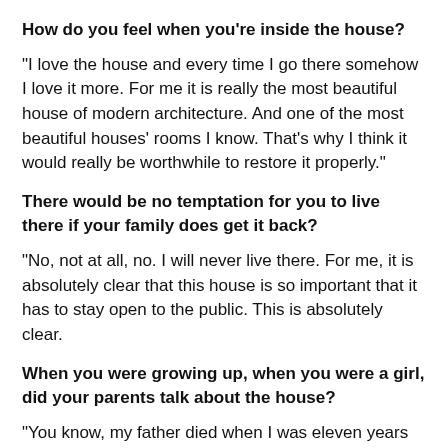How do you feel when you're inside the house?
"I love the house and every time I go there somehow I love it more. For me it is really the most beautiful house of modern architecture. And one of the most beautiful houses' rooms I know. That's why I think it would really be worthwhile to restore it properly."
There would be no temptation for you to live there if your family does get it back?
"No, not at all, no. I will never live there. For me, it is absolutely clear that this house is so important that it has to stay open to the public. This is absolutely clear.
When you were growing up, when you were a girl, did your parents talk about the house?
"You know, my father died when I was eleven years old